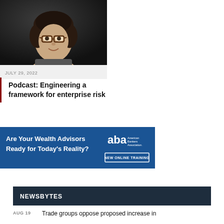[Figure (photo): Headshot of a woman with short dark hair and glasses, smiling, against a dark background]
JULY 29, 2022
Podcast: Engineering a framework for enterprise risk
[Figure (infographic): Blue banner advertisement: 'Are Your Wealth Advisors Ready for Today's Reality?' with American Bankers Association logo and 'NEW ONLINE TRAINING' button]
NEWSBYTES
AUG 19   Trade groups oppose proposed increase in